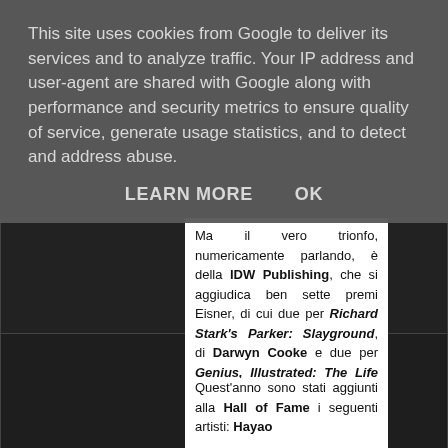This site uses cookies from Google to deliver its services and to analyze traffic. Your IP address and user-agent are shared with Google along with performance and security metrics to ensure quality of service, generate usage statistics, and to detect and address abuse.
LEARN MORE    OK
[Figure (illustration): Comic book artwork panels on left and right sides of the page, black and white illustrations of superhero/action characters]
Ma il vero trionfo, numericamente parlando, è della IDW Publishing, che si aggiudica ben sette premi Eisner, di cui due per Richard Stark's Parker: Slayground, di Darwyn Cooke e due per Genius, Illustrated: The Life and Art of Alex Toth, di Dean Mullaney and Bruce Canwell.

Quest'anno sono stati aggiunti alla Hall of Fame i seguenti artisti: Hayao